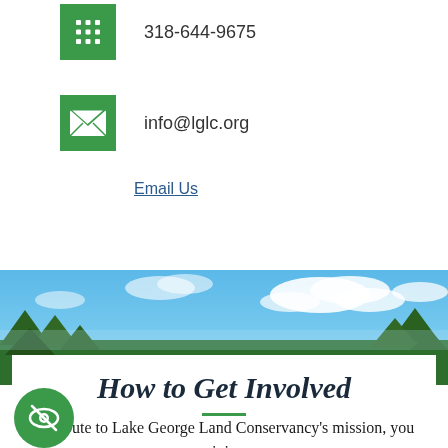318-644-9675
info@lglc.org
Email Us
[Figure (photo): Blue sky with clouds and green trees landscape banner]
How to Get Involved
ontribute to Lake George Land Conservancy's mission, you can join our